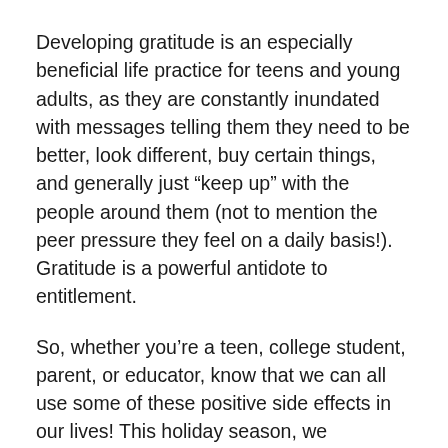Developing gratitude is an especially beneficial life practice for teens and young adults, as they are constantly inundated with messages telling them they need to be better, look different, buy certain things, and generally just “keep up” with the people around them (not to mention the peer pressure they feel on a daily basis!). Gratitude is a powerful antidote to entitlement.
So, whether you’re a teen, college student, parent, or educator, know that we can all use some of these positive side effects in our lives! This holiday season, we encourage you to begin the daily habit of practicing gratitude. Meditate silently on your blessings, jot down a bullet-pointed list every night, or talk about what you’re thankful for around the dinner table. However you do it, pay close attention to how it transforms your inner world